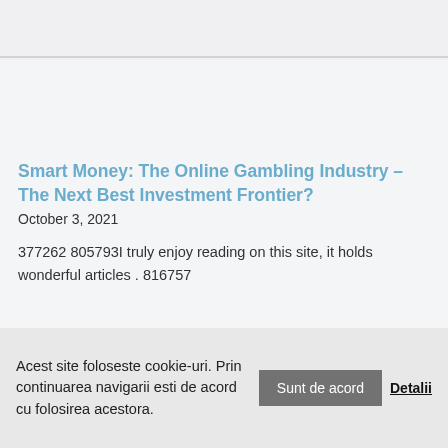Smart Money: The Online Gambling Industry – The Next Best Investment Frontier?
October 3, 2021
377262 805793I truly enjoy reading on this site, it holds wonderful articles . 816757
Acest site foloseste cookie-uri. Prin continuarea navigarii esti de acord cu folosirea acestora. Sunt de acord Detalii